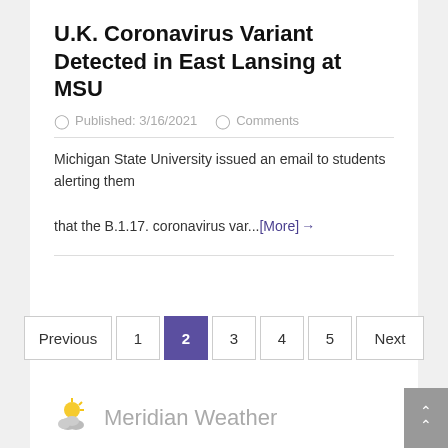U.K. Coronavirus Variant Detected in East Lansing at MSU
Published: 3/16/2021   Comments
Michigan State University issued an email to students alerting them that the B.1.17. coronavirus var...[More] →
Previous 1 2 3 4 5 Next
Meridian Weather